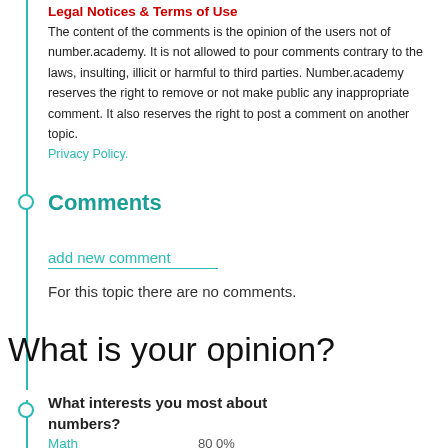Legal Notices & Terms of Use
The content of the comments is the opinion of the users not of number.academy. It is not allowed to pour comments contrary to the laws, insulting, illicit or harmful to third parties. Number.academy reserves the right to remove or not make public any inappropriate comment. It also reserves the right to post a comment on another topic. Privacy Policy.
Comments
add new comment
For this topic there are no comments.
What is your opinion?
What interests you most about numbers?
Math... 80.0%